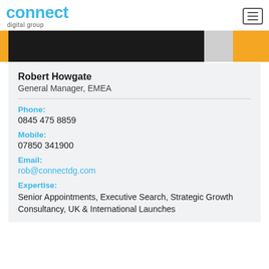connect digital group
[Figure (photo): Partial photo of a person in a suit against a golden/yellow background, cropped at the top]
Robert Howgate
General Manager, EMEA
Phone:
0845 475 8859
Mobile:
07850 341900
Email:
rob@connectdg.com
Expertise:
Senior Appointments, Executive Search, Strategic Growth Consultancy, UK & International Launches